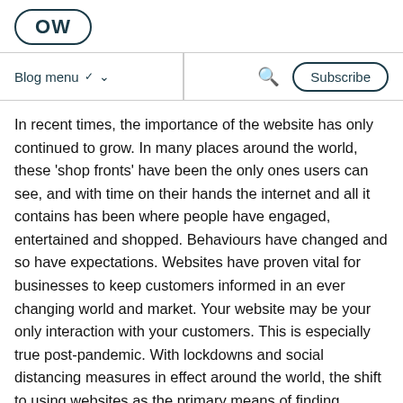OW
Blog menu ∨   🔍   Subscribe
In recent times, the importance of the website has only continued to grow. In many places around the world, these 'shop fronts' have been the only ones users can see, and with time on their hands the internet and all it contains has been where people have engaged, entertained and shopped. Behaviours have changed and so have expectations. Websites have proven vital for businesses to keep customers informed in an ever changing world and market. Your website may be your only interaction with your customers. This is especially true post-pandemic. With lockdowns and social distancing measures in effect around the world, the shift to using websites as the primary means of finding information and purchasing products has only accelerated.
In 2021...